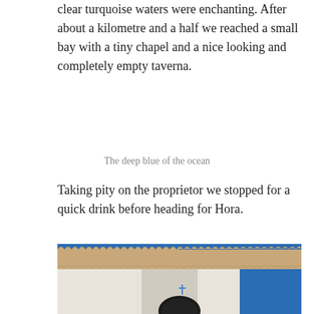clear turquoise waters were enchanting. After about a kilometre and a half we reached a small bay with a tiny chapel and a nice looking and completely empty taverna.
The deep blue of the ocean
Taking pity on the proprietor we stopped for a quick drink before heading for Hora.
[Figure (photo): Close-up of a whitewashed building with terracotta tile roof detail against a deep blue sky, with a dark circular sign visible at the bottom.]